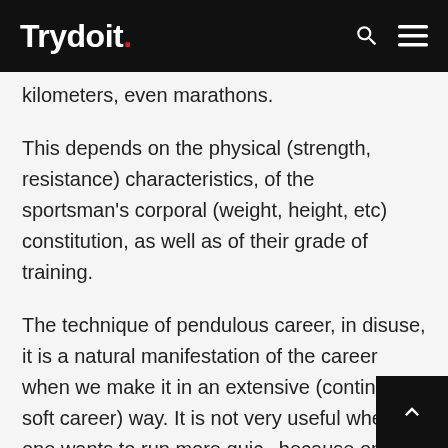Trydoit.
kilometers, even marathons.
This depends on the physical (strength, resistance) characteristics, of the sportsman's corporal (weight, height, etc) constitution, as well as of their grade of training.
The technique of pendulous career, in disuse, it is a natural manifestation of the career when we make it in an extensive (continuous soft career) way. It is not very useful when one wants to run more quick because one runs more sunken and with support of the checks, and it is this way